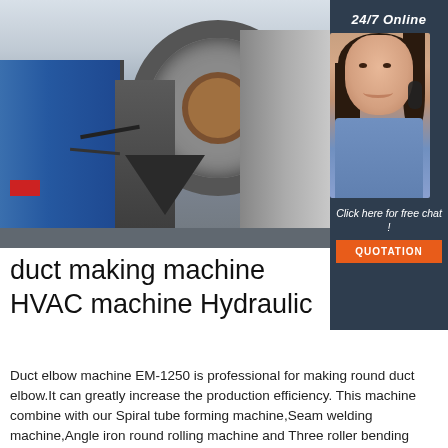[Figure (photo): Industrial factory floor showing a large duct elbow making machine (EM-1250) with heavy machinery, blue and grey equipment, a large circular opening, and red panels]
[Figure (photo): Customer service agent (woman with headset, smiling) beside a '24/7 Online' label in a dark panel with a 'Click here for free chat!' prompt and an orange QUOTATION button]
duct making machine HVAC machine Hydraulic
Duct elbow machine EM-1250 is professional for making round duct elbow.It can greatly increase the production efficiency. This machine combine with our Spiral tube forming machine,Seam welding machine,Angle iron round rolling machine and Three roller bending machine can …